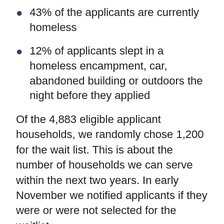43% of the applicants are currently homeless
12% of applicants slept in a homeless encampment, car, abandoned building or outdoors the night before they applied
Of the 4,883 eligible applicant households, we randomly chose 1,200 for the wait list. This is about the number of households we can serve within the next two years. In early November we notified applicants if they were or were not selected for the waitlist.
View our full waitlist data dashboard